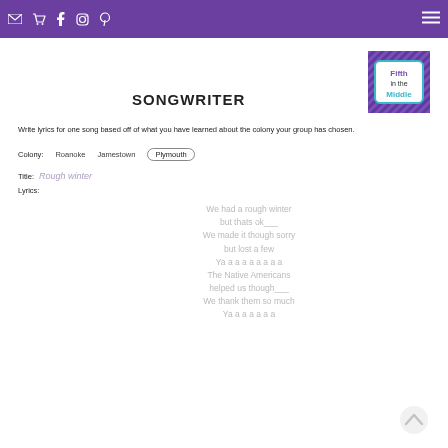Navigation header with icons: email, cart, facebook, instagram, pinterest, menu. Fifth in the Middle logo.
[Figure (logo): Fifth in the Middle logo - purple and teal square badge with diagonal stripes]
SONGWRITER
Write lyrics for one song based off of what you have learned about the colony your group has chosen.
Colony:   Roanoke   Jamestown   Plymouth (selected)
Title: Rough winter
Lyrics:
We had a rough winter
but thats ok___
We made it though sorry
but lost a few
Ya a a a a a a a a
The Native Americans
helped us though___
We thank them so much
Ya a a a a a a